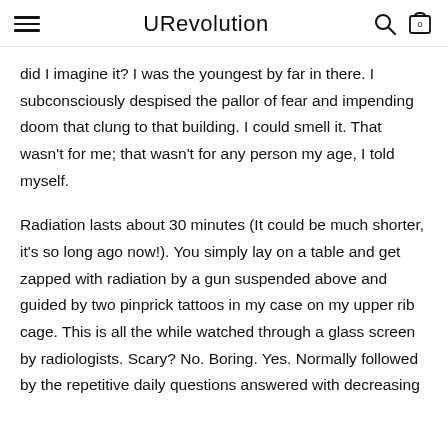URevolution
did I imagine it? I was the youngest by far in there. I subconsciously despised the pallor of fear and impending doom that clung to that building. I could smell it. That wasn't for me; that wasn't for any person my age, I told myself.
Radiation lasts about 30 minutes (It could be much shorter, it's so long ago now!). You simply lay on a table and get zapped with radiation by a gun suspended above and guided by two pinprick tattoos in my case on my upper rib cage. This is all the while watched through a glass screen by radiologists. Scary? No. Boring. Yes. Normally followed by the repetitive daily questions answered with decreasing